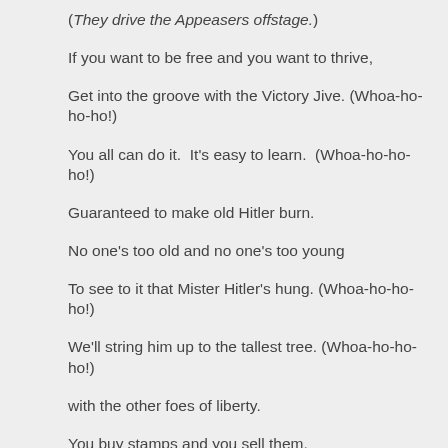(They drive the Appeasers offstage.)
If you want to be free and you want to thrive,
Get into the groove with the Victory Jive. (Whoa-ho-ho-ho!)
You all can do it.  It's easy to learn.  (Whoa-ho-ho-ho!)
Guaranteed to make old Hitler burn.
No one's too old and no one's too young
To see to it that Mister Hitler's hung. (Whoa-ho-ho-ho!)
We'll string him up to the tallest tree. (Whoa-ho-ho-ho!)
with the other foes of liberty.
You buy stamps and you sell them.
Call on people and tell them
to buy bonds.  Give 'til it hurts –